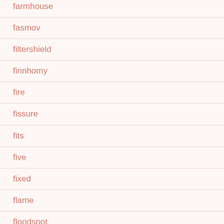farmhouse
fasmov
filtershield
finnhomy
fire
fissure
fits
five
fixed
flame
floodspot